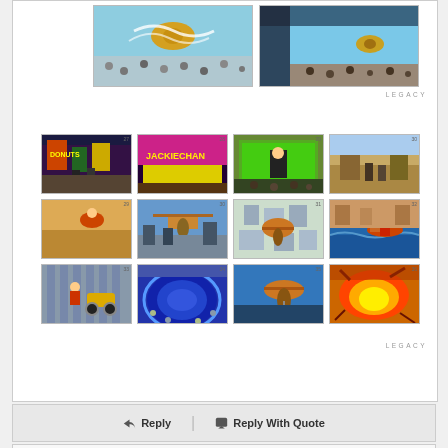[Figure (illustration): Two large comic-style artwork panels side by side. Left panel shows a golden figure flying over a crowd with blue sky. Right panel shows a figure flying with crowd below, blue sky.]
LEGACY
[Figure (illustration): Grid of 12 comic-style storyboard/animation frames. Row 1: city street scene, Jackie Chan sign billboard, person on green screen stage, outdoor stage scene. Row 2: motorcycle chase/crash, helicopter chase urban, helicopter aerial view, jetski/water chase. Row 3: car leap scene, circular structure below, helicopter with figure, explosion/fire scene.]
LEGACY
Reply
Reply With Quote